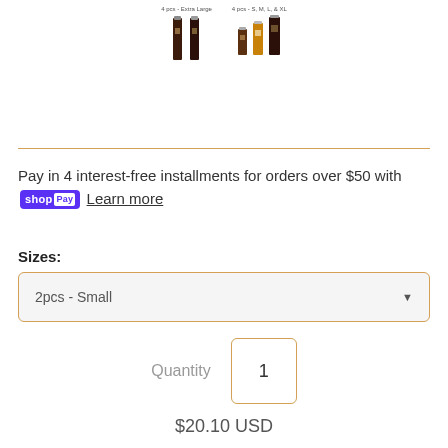[Figure (photo): Two product thumbnail images: left shows '4pcs - Extra Large' with two tall dark bottles side by side; right shows '4pcs - S, M, L, & XL' with four bottles of varying sizes]
Pay in 4 interest-free installments for orders over $50 with shop Pay Learn more
Sizes:
2pcs - Small
Quantity  1
$20.10 USD